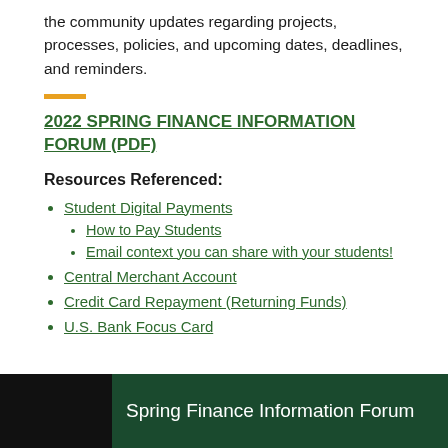the community updates regarding projects, processes, policies, and upcoming dates, deadlines, and reminders.
2022 SPRING FINANCE INFORMATION FORUM (PDF)
Resources Referenced:
Student Digital Payments
How to Pay Students
Email context you can share with your students!
Central Merchant Account
Credit Card Repayment (Returning Funds)
U.S. Bank Focus Card
[Figure (other): Spring Finance Information Forum banner with black left section and dark green right section containing white text]